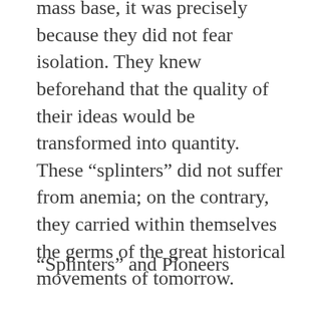mass base, it was precisely because they did not fear isolation. They knew beforehand that the quality of their ideas would be transformed into quantity. These “splinters” did not suffer from anemia; on the contrary, they carried within themselves the germs of the great historical movements of tomorrow.
“Splinters” and Pioneers
In very much the same way, to repeat, a progressive movement occurs in art. When an artistic tendency has exhausted its creative resources, creative “splinters” separate from it, which are able to look at the world with new eyes. The more daring the pioneers show in their ideas and actions, the more bitterly they oppose themselves to established authority which rests on a conservative “mass base,” the more conventional souls, skeptics, and snobs are inclined to see in the pioneers, impotent eccentrics or “anemic splinters.” But in the last analysis it is the conventional souls